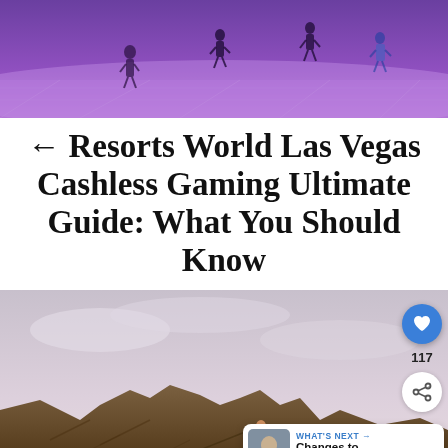[Figure (photo): Top banner image showing people walking in a purple-lit mall or casino atrium area, viewed from above/slight angle.]
← Resorts World Las Vegas Cashless Gaming Ultimate Guide: What You Should Know
[Figure (photo): Photo of a person in a red jacket standing on rocky terrain against an overcast sky, with social action buttons (heart/like, share count 117, share icon) overlaid on the right side, and a 'WHAT'S NEXT' card in the bottom right showing 'Changes to American...']